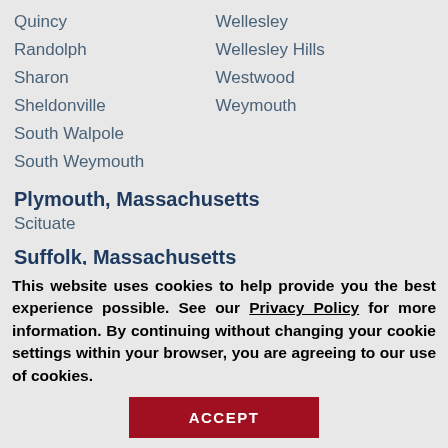Quincy
Wellesley
Randolph
Wellesley Hills
Sharon
Westwood
Sheldonville
Weymouth
South Walpole
South Weymouth
Plymouth, Massachusetts
Scituate
Suffolk, Massachusetts
This website uses cookies to help provide you the best experience possible. See our Privacy Policy for more information. By continuing without changing your cookie settings within your browser, you are agreeing to our use of cookies.
ACCEPT